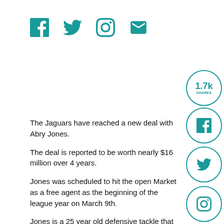[Figure (infographic): Social media sharing icons row: Facebook, Twitter, Instagram, Email in teal]
[Figure (infographic): 1.7k SHARES circle badge in teal]
The Jaguars have reached a new deal with Abry Jones.
[Figure (infographic): Facebook circle share button in teal]
The deal is reported to be worth nearly $16 million over 4 years.
[Figure (infographic): Twitter circle share button in teal]
Jones was scheduled to hit the open Market as a free agent as the beginning of the league year on March 9th.
[Figure (infographic): Instagram circle share button in teal]
Jones is a 25 year old defensive tackle that stands 6'4 tall and weighs in at nearly 320 lbs. An undrafted free agent out of Georgia in 2013 Jones has spent all four years of his NFL career with the Jaguars. As is the case for most undrafted rookies, in his first year out of college Jones struggled to make an impact on the team and
[Figure (infographic): Reddit circle share button in teal]
[Figure (infographic): Email circle share button in teal]